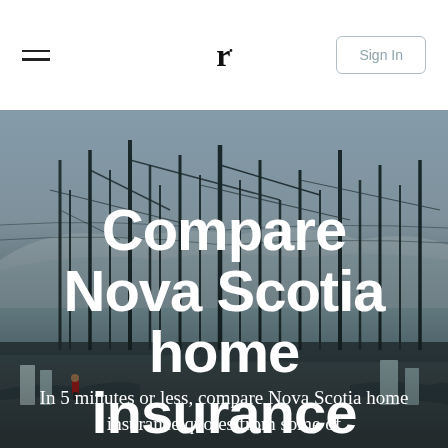Navigation bar with hamburger menu, r• logo, and Sign In button
[Figure (photo): Background photo of a harbor with boats, cranes, masts and industrial equipment against a grey-blue sky with mountains in the distance]
Compare Nova Scotia home insurance quotes.
In 5 minutes or less, compare Nova Scotia home insurance quotes from some of